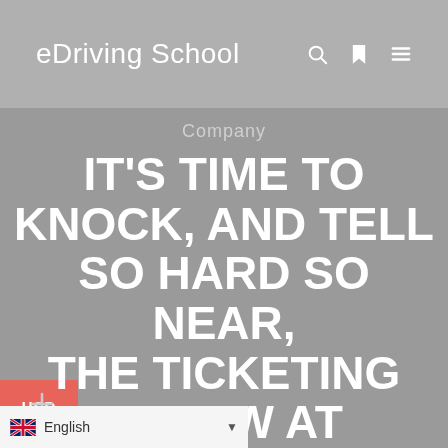eDriving School
Company
IT'S TIME TO KNOCK, AND TELL SO HARD SO NEAR, THE TICKETING IS NOW AT
USD
English